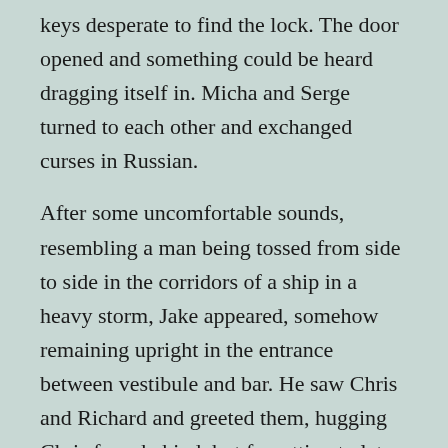keys desperate to find the lock. The door opened and something could be heard dragging itself in. Micha and Serge turned to each other and exchanged curses in Russian.
After some uncomfortable sounds, resembling a man being tossed from side to side in the corridors of a ship in a heavy storm, Jake appeared, somehow remaining upright in the entrance between vestibule and bar. He saw Chris and Richard and greeted them, hugging Chris from behind, but forgetting to let go.
Serge spoke in German, Jake answered and